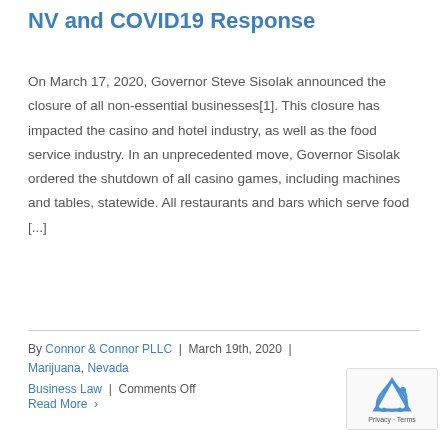NV and COVID19 Response
On March 17, 2020, Governor Steve Sisolak announced the closure of all non-essential businesses[1]. This closure has impacted the casino and hotel industry, as well as the food service industry. In an unprecedented move, Governor Sisolak ordered the shutdown of all casino games, including machines and tables, statewide. All restaurants and bars which serve food [...]
By Connor & Connor PLLC | March 19th, 2020 | Marijuana, Nevada Business Law | Comments Off
Read More >